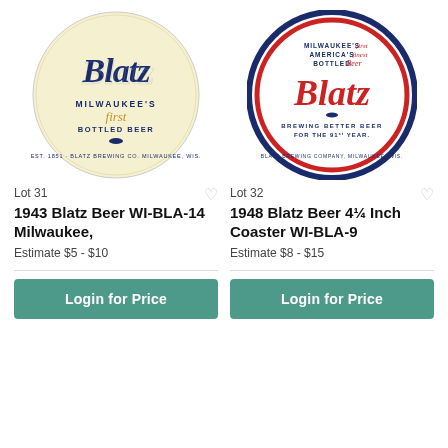[Figure (photo): Round beer coaster for Blatz Beer, cream/yellow background with dark blue script 'Blatz' logo, text 'Milwaukee's first Bottled Beer', 'Est. 1851 · Blatz Brewing Co. Milwaukee, Wis.']
Lot 31
1943 Blatz Beer WI-BLA-14 Milwaukee,
Estimate $5 - $10
Login for Price
[Figure (photo): Round beer coaster for Blatz Beer, white background with blue and red design, red script 'Blatz' in center, text 'Milwaukee's First America's Finest Bottled Beer', 'Brewing Better Beer For the 91st Year', 'Blatz Brewing Company, Milwaukee, Wis.']
Lot 32
1948 Blatz Beer 4¼ Inch Coaster WI-BLA-9
Estimate $8 - $15
Login for Price